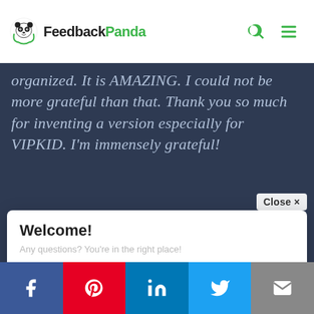FeedbackPanda
organized. It is AMAZING. I could not be more grateful than that. Thank you so much for inventing a version especially for VIPKID. I'm immensely grateful!
Close ×
Welcome!
Any questions? You're in the right place!
This site uses cookies to help us improve your experience.
Click for support
Facebook | Pinterest | LinkedIn | Twitter | Email